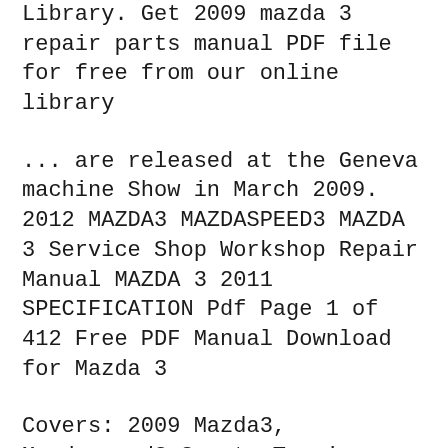Library. Get 2009 mazda 3 repair parts manual PDF file for free from our online library
... are released at the Geneva machine Show in March 2009. 2012 MAZDA3 MAZDASPEED3 MAZDA 3 Service Shop Workshop Repair Manual MAZDA 3 2011 SPECIFICATION Pdf Page 1 of 412 Free PDF Manual Download for Mazda 3
Covers: 2009 Mazda3, Mazdaspeed3 Sport, Touring, Grand Touring (Sedan and Hatchback) with 2.0L, 2.5L, 2.3L Turbo 4 Cyl engines Pages: 5,000+ Format: PDF files Service Manual For Mazda 3 2009 Mazda 3 service manual ebay, factory service manual fsm repair